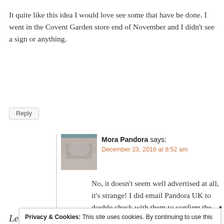It quite like this idea I would love see some that have be done. I went in the Covent Garden store end of November and I didn't see a sign or anything.
Reply
[Figure (photo): Small avatar photo of Mora Pandora, showing a blurred jewelry/fabric image]
Mora Pandora says:
December 23, 2016 at 8:52 am
No, it doesn't seem well advertised at all, it's strange! I did email Pandora UK to double check with them to confirm the details and it seems that,
Privacy & Cookies: This site uses cookies. By continuing to use this website, you agree to their use.
To find out more, including how to control cookies, see here: Cookie Policy
Close and accept
Leave a Reply